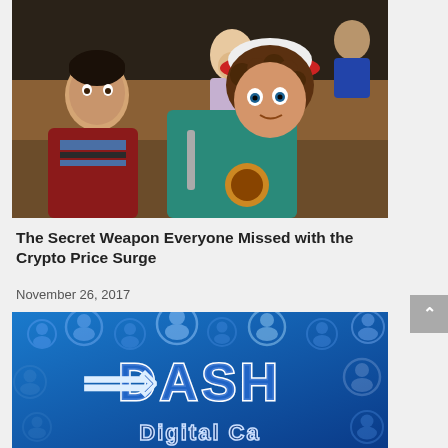[Figure (photo): Two young boys looking surprised or shocked, one wearing a striped shirt and red jacket, the other wearing a teal hoodie and a red/white baseball cap, appearing to be in a school or gymnasium setting.]
The Secret Weapon Everyone Missed with the Crypto Price Surge
November 26, 2017
[Figure (photo): Blue background with circular user/person icons arranged in a pattern, with the Dash (DASH) Digital Cash cryptocurrency logo prominently displayed in blue metallic text in the center.]